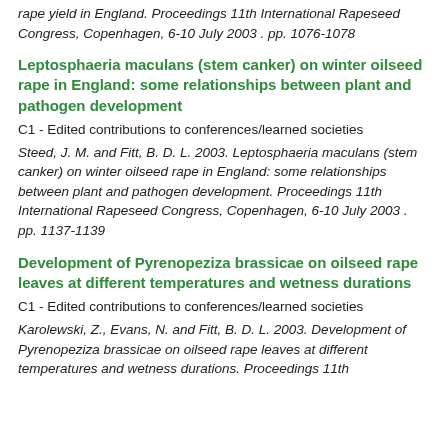rape yield in England. Proceedings 11th International Rapeseed Congress, Copenhagen, 6-10 July 2003 . pp. 1076-1078
Leptosphaeria maculans (stem canker) on winter oilseed rape in England: some relationships between plant and pathogen development
C1 - Edited contributions to conferences/learned societies
Steed, J. M. and Fitt, B. D. L. 2003. Leptosphaeria maculans (stem canker) on winter oilseed rape in England: some relationships between plant and pathogen development. Proceedings 11th International Rapeseed Congress, Copenhagen, 6-10 July 2003 . pp. 1137-1139
Development of Pyrenopeziza brassicae on oilseed rape leaves at different temperatures and wetness durations
C1 - Edited contributions to conferences/learned societies
Karolewski, Z., Evans, N. and Fitt, B. D. L. 2003. Development of Pyrenopeziza brassicae on oilseed rape leaves at different temperatures and wetness durations. Proceedings 11th